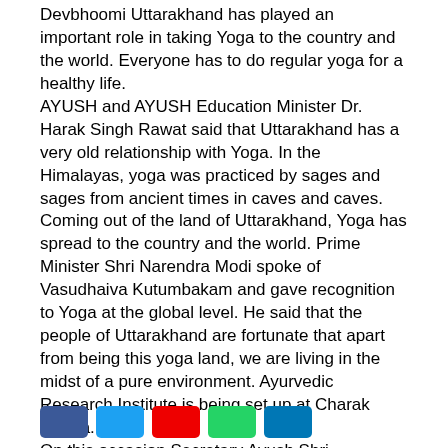Devbhoomi Uttarakhand has played an important role in taking Yoga to the country and the world. Everyone has to do regular yoga for a healthy life. AYUSH and AYUSH Education Minister Dr. Harak Singh Rawat said that Uttarakhand has a very old relationship with Yoga. In the Himalayas, yoga was practiced by sages and sages from ancient times in caves and caves. Coming out of the land of Uttarakhand, Yoga has spread to the country and the world. Prime Minister Shri Narendra Modi spoke of Vasudhaiva Kutumbakam and gave recognition to Yoga at the global level. He said that the people of Uttarakhand are fortunate that apart from being this yoga land, we are living in the midst of a pure environment. Ayurvedic Research Institute is being set up at Charak Danda. On this occasion Secretary Ayush Shri Chandresh Yadav, Vice Chancellor Uttarakhand Ayurvedic Vishwavidyalaya Prof. Sunil Kumar, Director Ayurvedic and Unani Services Dr. M. P. Singh, District Magistrate Dehradun Dr. Ashish Kumar Srivastava etc. were present.